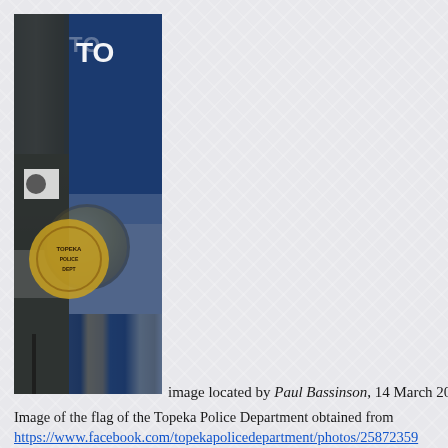[Figure (photo): Cropped photo showing a police officer in uniform with a badge and a dark blue flag with 'TO' visible (Topeka Police Department flag) in the background]
image located by Paul Bassinson, 14 March 2021
Image of the flag of the Topeka Police Department obtained from https://www.facebook.com/topekapolicedepartment/photos/25872359...
Paul Bassinson, 14 March 2021